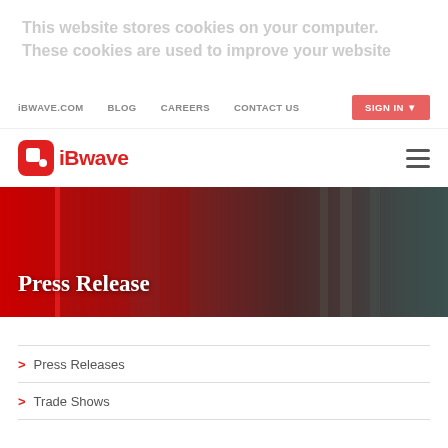This website stores cookies on your computer. These cookies are used to improve your website
iBWAVE.COM | BLOG | CAREERS | CONTACT US | SIGN IN
[Figure (logo): iBwave logo - red rounded square icon with white dot and iBwave text in red]
Press Release
Press Releases
Trade Shows